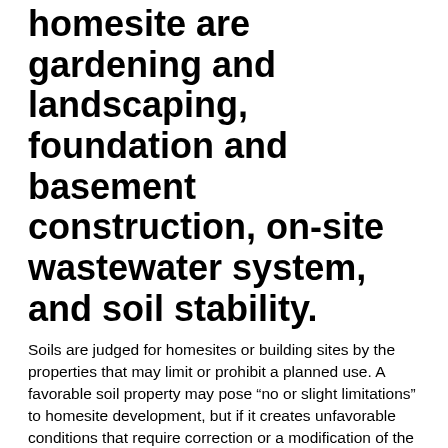homesite are gardening and landscaping, foundation and basement construction, on-site wastewater system, and soil stability.
Soils are judged for homesites or building sites by the properties that may limit or prohibit a planned use. A favorable soil property may pose “no or slight limitations” to homesite development, but if it creates unfavorable conditions that require correction or a modification of the building plans, the limitation is categorized as “moderate,” “severe,” or “very severe,” depending on the severity of the condition.
The final evaluation of a building site depends on the limitations of the individual soil properties. The soil property with the most severe limitations automatically classifies the building site use category. For example, if